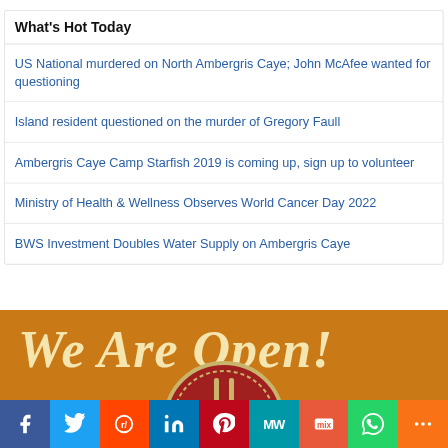What's Hot Today
US National murdered on North Ambergris Caye; John McAfee wanted for questioning
Island resident questioned on the murder of Gregory Faull
Ambergris Caye Camp Starfish 2019 is coming up, sign up to volunteer
Ministry of Health & Wellness Observes World Cancer Day 2022
BWS Investment Doubles Water Supply on Ambergris Caye
[Figure (illustration): Orange banner with italic text reading 'We Are Open!' with a decorative circular emblem below]
[Figure (infographic): Social sharing bar with Facebook, Twitter, Reddit, LinkedIn, Pinterest, MeWe, Mix, WhatsApp, and More buttons]